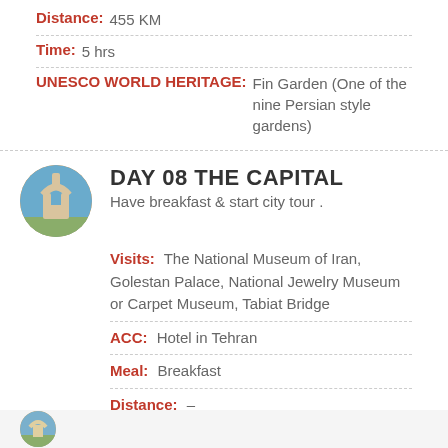Distance: 455 KM
Time: 5 hrs
UNESCO WORLD HERITAGE: Fin Garden (One of the nine Persian style gardens)
DAY 08 THE CAPITAL
Have breakfast & start city tour .
Visits: The National Museum of Iran, Golestan Palace, National Jewelry Museum or Carpet Museum, Tabiat Bridge
ACC: Hotel in Tehran
Meal: Breakfast
Distance: –
Time: –
UNESCO WORLD HERITAGE: Golestan Palace